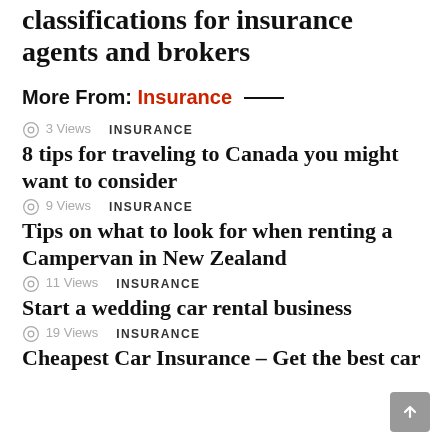classifications for insurance agents and brokers
More From: Insurance —
3 Views   INSURANCE
8 tips for traveling to Canada you might want to consider
9 Views   INSURANCE
Tips on what to look for when renting a Campervan in New Zealand
11 Views   INSURANCE
Start a wedding car rental business
19 Views   INSURANCE
Cheapest Car Insurance – Get the best car